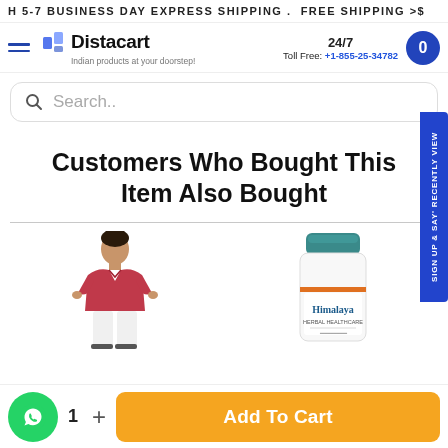H 5-7 BUSINESS DAY EXPRESS SHIPPING . FREE SHIPPING >$
[Figure (logo): Distacart logo with tagline 'Indian products at your doorstep!']
24/7 Toll Free: +1-855-25-34782
Search..
Customers Who Bought This Item Also Bought
[Figure (photo): Boy wearing red polo shirt]
[Figure (photo): Himalaya herbal product bottle]
1  +  Add To Cart